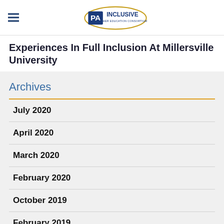PA Inclusive Higher Education Consortium
Experiences In Full Inclusion At Millersville University
Archives
July 2020
April 2020
March 2020
February 2020
October 2019
February 2019